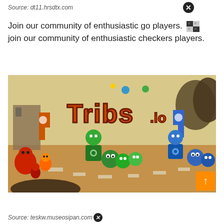Source: dt11.hrsdtx.com
Join our community of enthusiastic go players. [checkerboard icon] join our community of enthusiastic checkers players.
[Figure (screenshot): Screenshot of the game 'Tribs.io' showing colorful cartoon characters in three teams: red/orange, green, and blue, facing each other on a dirt path background. The game logo 'Tribs.io' is displayed in large orange letters at the top.]
Source: teskw.museosipan.com